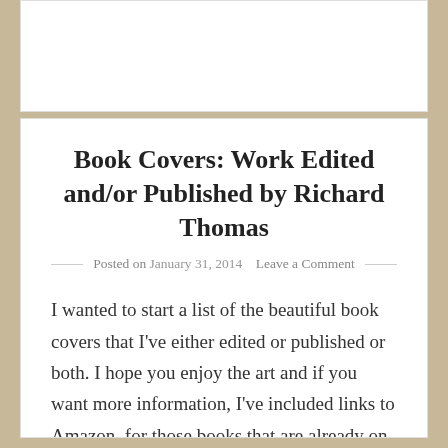Book Covers: Work Edited and/or Published by Richard Thomas
Posted on January 31, 2014   Leave a Comment
I wanted to start a list of the beautiful book covers that I’ve either edited or published or both. I hope you enjoy the art and if you want more information, I’ve included links to Amazon, for those books that are already on the website. They are in reverse chronological order. UPDATED: July, 2016 Scratch [...]